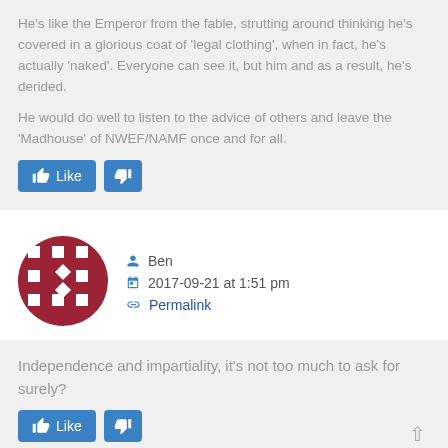He's like the Emperor from the fable, strutting around thinking he's covered in a glorious coat of 'legal clothing', when in fact, he's actually 'naked'. Everyone can see it, but him and as a result, he's derided.

He would do well to listen to the advice of others and leave the 'Madhouse' of NWEF/NAMF once and for all.
[Figure (other): Like and dislike buttons (blue)]
[Figure (other): User avatar - circular red icon with film reel pattern]
Ben
2017-09-21 at 1:51 pm
Permalink
Independence and impartiality, it's not too much to ask for surely?
[Figure (other): Like and dislike buttons (blue)]